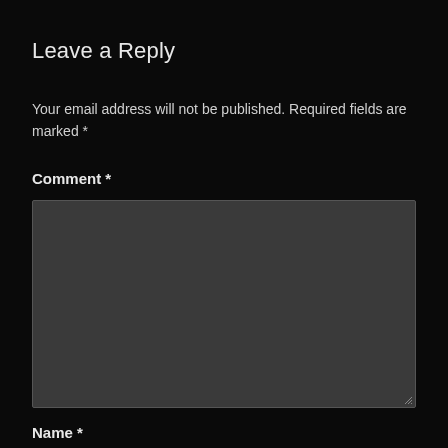Leave a Reply
Your email address will not be published. Required fields are marked *
Comment *
[Figure (screenshot): Empty comment text area input box with dark gray background and border]
Name *